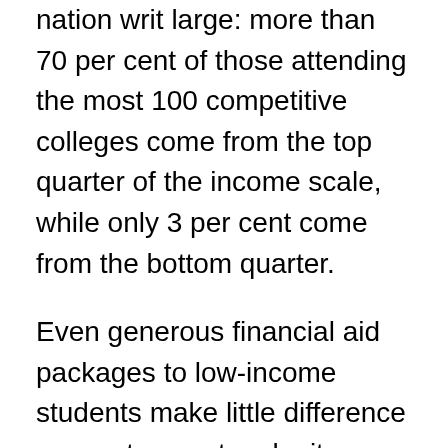nation writ large: more than 70 per cent of those attending the most 100 competitive colleges come from the top quarter of the income scale, while only 3 per cent come from the bottom quarter.
Even generous financial aid packages to low-income students make little difference as most cannot make it through the ultra-competitive admissions process. Moreover, the intensive nature of the educational race is also having deleterious effects on those young people who do manage to get in.
Sandel cites examples such as growing